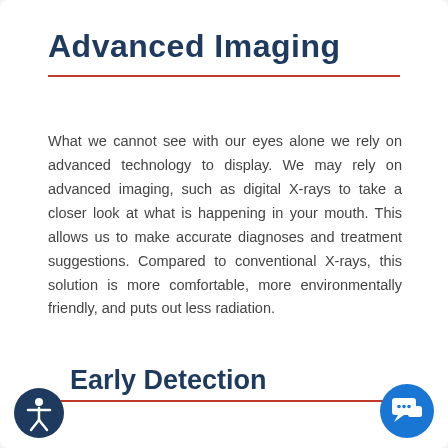Advanced Imaging
What we cannot see with our eyes alone we rely on advanced technology to display. We may rely on advanced imaging, such as digital X-rays to take a closer look at what is happening in your mouth. This allows us to make accurate diagnoses and treatment suggestions. Compared to conventional X-rays, this solution is more comfortable, more environmentally friendly, and puts out less radiation.
Early Detection
[Figure (illustration): Accessibility icon — circular dark navy badge with a person/human figure symbol in white]
[Figure (illustration): Chat icon — circular bright blue badge with speech bubble and dots symbol in white]